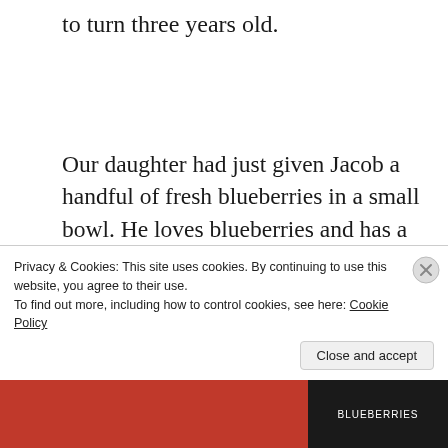to turn three years old.
Our daughter had just given Jacob a handful of fresh blueberries in a small bowl. He loves blueberries and has a lovely inquisitive mind. This is the text our daughter sent to us after this brief exchange. She wrote – “Jacob asked where his blueberries came from. I told
Privacy & Cookies: This site uses cookies. By continuing to use this website, you agree to their use.
To find out more, including how to control cookies, see here: Cookie Policy
Close and accept